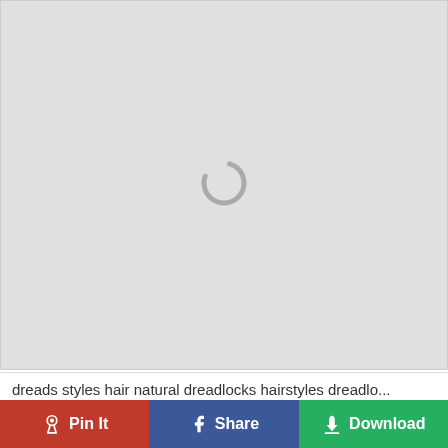[Figure (other): Gray placeholder image area with a circular loading spinner in the center]
dreads styles hair natural dreadlocks hairstyles dreadlo...
Pin It | Share | Download